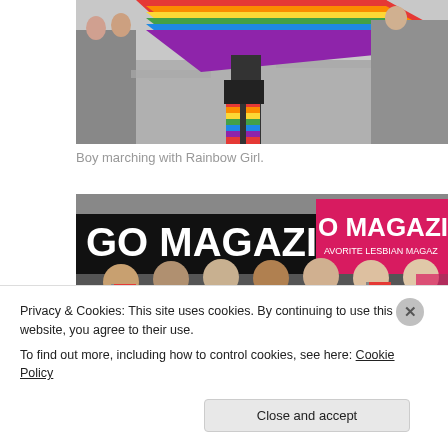[Figure (photo): Person marching with a large rainbow Pride flag waving overhead, wearing rainbow striped socks/leggings. Crowd and barriers visible in background on a city street.]
Boy marching with Rainbow Girl.
[Figure (photo): Group of women standing in front of a large 'GO MAGAZINE' banner and a pink sign reading 'FAVORITE LESBIAN MAGAZINE'. Several hold small rainbow flags and pinwheels.]
Privacy & Cookies: This site uses cookies. By continuing to use this website, you agree to their use.
To find out more, including how to control cookies, see here: Cookie Policy